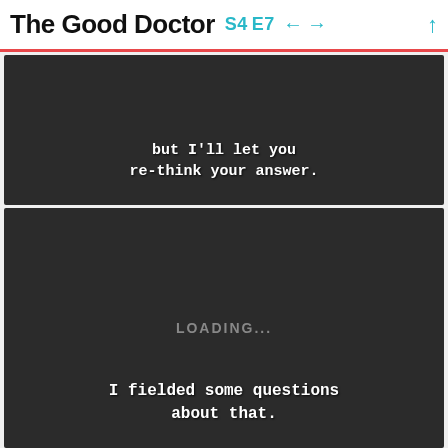The Good Doctor S4 E7 ← → ↑
[Figure (screenshot): Dark video frame with white subtitle text: 'but I'll let you re-think your answer.']
[Figure (screenshot): Dark video frame with LOADING... text in center and subtitle: 'I fielded some questions about that.']
[Figure (screenshot): Dark video frame, partially visible at bottom of page]